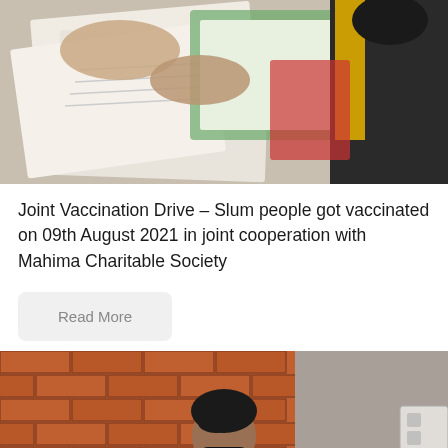[Figure (photo): Close-up photo of hands filling out paper forms on a clipboard, person in background wearing black and yellow clothing]
Joint Vaccination Drive – Slum people got vaccinated on 09th August 2021 in joint cooperation with Mahima Charitable Society
Read More
[Figure (photo): Young man wearing a black Puma face mask and blue vest sitting in front of a red brick wall, with cardboard boxes nearby]